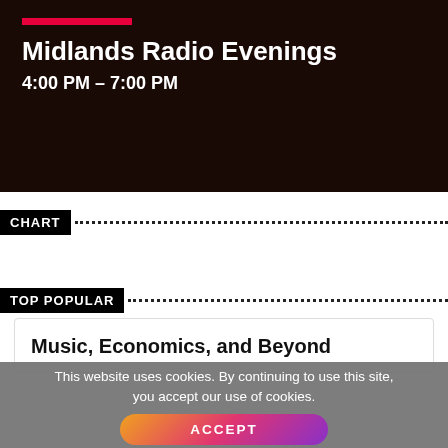[Figure (screenshot): Dark banner with red accent bar above show title]
Midlands Radio Evenings
4:00 PM – 7:00 PM
CHART
TOP POPULAR
Music, Economics, and Beyond
This website uses cookies. By continuing to use this site, you accept our use of cookies.